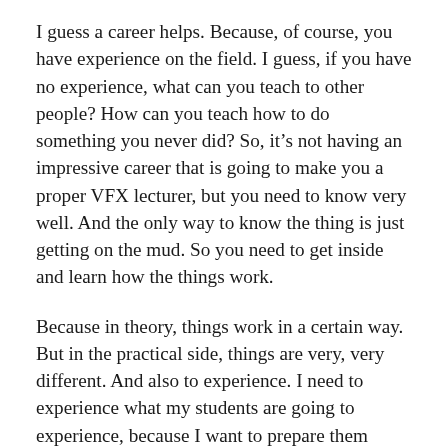I guess a career helps. Because, of course, you have experience on the field. I guess, if you have no experience, what can you teach to other people? How can you teach how to do something you never did? So, it’s not having an impressive career that is going to make you a proper VFX lecturer, but you need to know very well. And the only way to know the thing is just getting on the mud. So you need to get inside and learn how the things work.
Because in theory, things work in a certain way. But in the practical side, things are very, very different. And also to experience. I need to experience what my students are going to experience, because I want to prepare them psychologically also. Also to put them in the mindset, to help them understand from the critical point of view what they are doing.